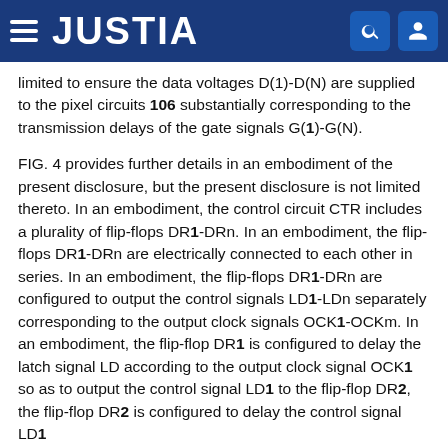JUSTIA
limited to ensure the data voltages D(1)-D(N) are supplied to the pixel circuits 106 substantially corresponding to the transmission delays of the gate signals G(1)-G(N).
FIG. 4 provides further details in an embodiment of the present disclosure, but the present disclosure is not limited thereto. In an embodiment, the control circuit CTR includes a plurality of flip-flops DR1-DRn. In an embodiment, the flip-flops DR1-DRn are electrically connected to each other in series. In an embodiment, the flip-flops DR1-DRn are configured to output the control signals LD1-LDn separately corresponding to the output clock signals OCK1-OCKm. In an embodiment, the flip-flop DR1 is configured to delay the latch signal LD according to the output clock signal OCK1 so as to output the control signal LD1 to the flip-flop DR2, the flip-flop DR2 is configured to delay the control signal LD1